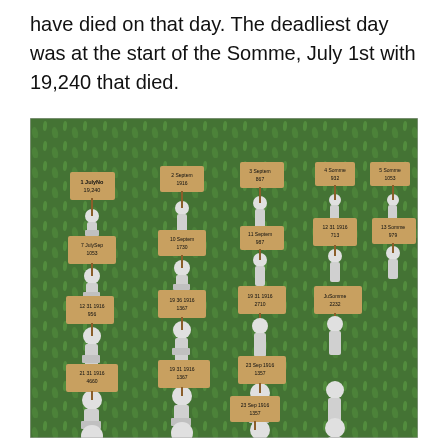have died on that day. The deadliest day was at the start of the Somme, July 1st with 19,240 that died.
[Figure (photo): A photograph of white figurines of soldiers placed on a grass lawn, each holding a small wooden sign with dates and casualty numbers from the Battle of the Somme. Signs include dates such as 1 July 1916 with 19,240, 2 September 1916, 3 September 1916, and various other dates with associated death tolls.]